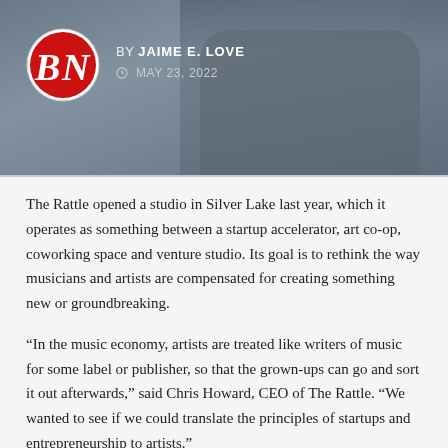[Figure (photo): Header image showing a person with crossed arms in a gray t-shirt, with a BN logo circle (red and white with BN letters) on the left side, byline 'BY JAIME E. LOVE' and date 'MAY 23, 2022' overlaid on the image.]
BY JAIME E. LOVE
MAY 23, 2022
The Rattle opened a studio in Silver Lake last year, which it operates as something between a startup accelerator, art co-op, coworking space and venture studio. Its goal is to rethink the way musicians and artists are compensated for creating something new or groundbreaking.
“In the music economy, artists are treated like writers of music for some label or publisher, so that the grown-ups can go and sort it out afterwards,” said Chris Howard, CEO of The Rattle. “We wanted to see if we could translate the principles of startups and entrepreneurship to artists.”
This week, the Los Angeles and U.K.-based creative collective